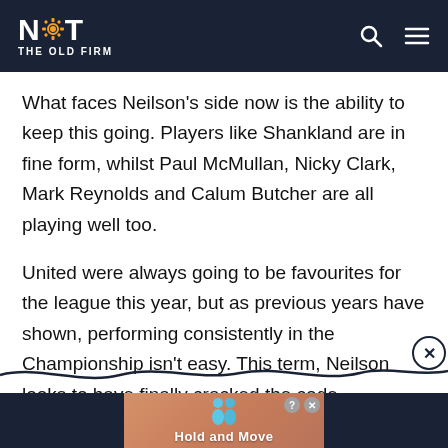NOT THE OLD FIRM
What faces Neilson's side now is the ability to keep this going. Players like Shankland are in fine form, whilst Paul McMullan, Nicky Clark, Mark Reynolds and Calum Butcher are all playing well too.
United were always going to be favourites for the league this year, but as previous years have shown, performing consistently in the Championship isn't easy. This term, Neilson looks to have finally cracked the code.
[Figure (screenshot): Advertisement banner showing 'Hold and Move' game with cartoon figures, with a close button (X) overlay and wave decoration above the banner]